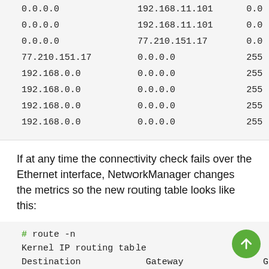| Destination | Gateway | Gen |
| --- | --- | --- |
| 0.0.0.0 | 192.168.11.101 | 0.0 |
| 0.0.0.0 | 192.168.11.101 | 0.0 |
| 0.0.0.0 | 77.210.151.17 | 0.0 |
| 77.210.151.17 | 0.0.0.0 | 255 |
| 192.168.0.0 | 0.0.0.0 | 255 |
| 192.168.0.0 | 0.0.0.0 | 255 |
| 192.168.0.0 | 0.0.0.0 | 255 |
| 192.168.0.0 | 0.0.0.0 | 255 |
If at any time the connectivity check fails over the Ethernet interface, NetworkManager changes the metrics so the new routing table looks like this:
| Destination | Gateway | Gen |
| --- | --- | --- |
| # route -n |  |  |
| Kernel IP routing table |  |  |
| Destination | Gateway | Gen |
| 0.0.0.0 | 192.168.11.101 | 0.0 |
| 0.0.0.0 | 77.210.151.17 | 0.0 |